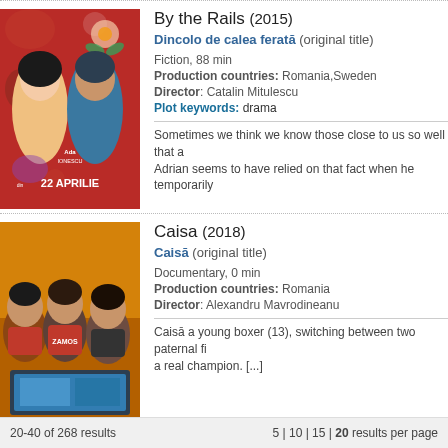[Figure (photo): Movie poster for 'By the Rails' showing illustrated couple facing each other, red background with flowers, text '22 APRILIE']
By the Rails (2015)
Dincolo de calea ferată (original title)
Fiction, 88 min
Production countries: Romania,Sweden
Director: Catalin Mitulescu
Plot keywords: drama
Sometimes we think we know those close to us so well that a... Adrian seems to have relied on that fact when he temporarily...
[Figure (photo): Photo of young boys looking at a computer screen, warm orange/yellow background]
Caisa (2018)
Caisā (original title)
Documentary, 0 min
Production countries: Romania
Director: Alexandru Mavrodineanu
Caisā a young boxer (13), switching between two paternal fi... a real champion. [...]
20-40 of 268 results          5 | 10 | 15 | 20 results per page